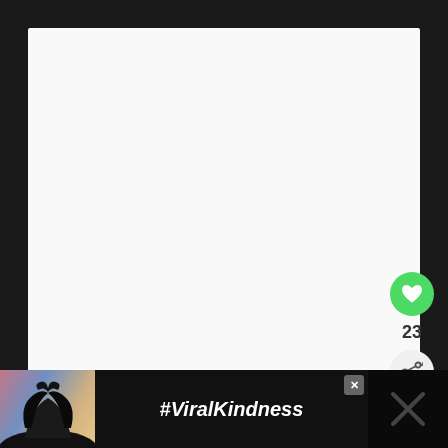[Figure (screenshot): White content area representing a webpage screenshot with social interaction buttons on the right side (like button with count 23, share button) and a 'What's Next' card showing '18 Cozy Cabins in...' preview]
23
WHAT'S NEXT → 18 Cozy Cabins in...
[Figure (photo): Advertisement banner at the bottom with silhouette hands forming a heart shape against colorful sunset sky, with text #ViralKindness and a close button]